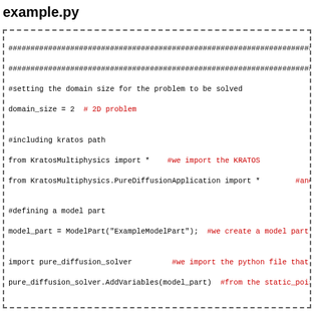example.py
[Figure (screenshot): Python source code listing for example.py showing Kratos Multiphysics setup including domain size, imports, model part definition, GID interface usage, mesh initialization and postprocessing steps.]